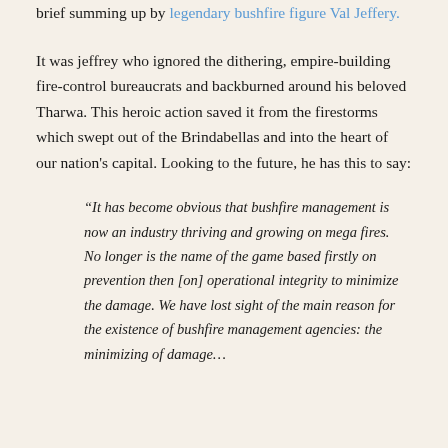brief summing up by legendary bushfire figure Val Jeffery.
It was jeffrey who ignored the dithering, empire-building fire-control bureaucrats and backburned around his beloved Tharwa. This heroic action saved it from the firestorms which swept out of the Brindabellas and into the heart of our nation's capital. Looking to the future, he has this to say:
“It has become obvious that bushfire management is now an industry thriving and growing on mega fires. No longer is the name of the game based firstly on prevention then [on] operational integrity to minimize the damage. We have lost sight of the main reason for the existence of bushfire management agencies: the minimizing of damage…